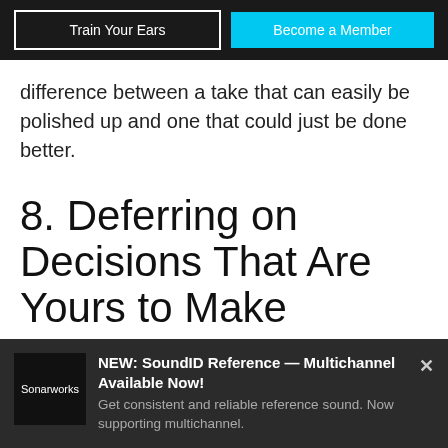Train Your Ears | Become a Member
difference between a take that can easily be polished up and one that could just be done better.
8. Deferring on Decisions That Are Yours to Make
“Yeah, I dunno, I think it sounds pretty good, but
NEW: SoundID Reference — Multichannel Available Now! Get consistent and reliable reference sound. Now supporting multichannel.